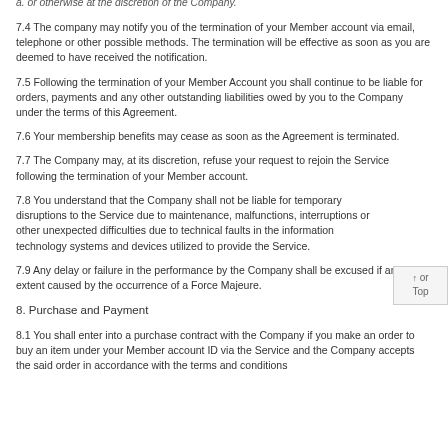a. or otherwise at the discretion of the Company.
7.4 The company may notify you of the termination of your Member account via email, telephone or other possible methods. The termination will be effective as soon as you are deemed to have received the notification.
7.5 Following the termination of your Member Account you shall continue to be liable for orders, payments and any other outstanding liabilities owed by you to the Company under the terms of this Agreement.
7.6 Your membership benefits may cease as soon as the Agreement is terminated.
7.7 The Company may, at its discretion, refuse your request to rejoin the Service following the termination of your Member account.
7.8 You understand that the Company shall not be liable for temporary disruptions to the Service due to maintenance, malfunctions, interruptions or other unexpected difficulties due to technical faults in the information technology systems and devices utilized to provide the Service.
7.9 Any delay or failure in the performance by the Company shall be excused if and to the extent caused by the occurrence of a Force Majeure.
8. Purchase and Payment
8.1 You shall enter into a purchase contract with the Company if you make an order to buy an item under your Member account ID via the Service and the Company accepts the said order in accordance with the terms and conditions